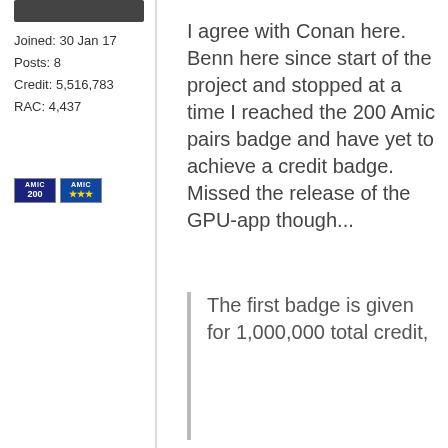Joined: 30 Jan 17
Posts: 8
Credit: 5,516,783
RAC: 4,437
[Figure (illustration): Two small badge icons: one dark blue AMIC 200 badge and one dark blue AMIC badge with three gold stars]
I agree with Conan here. Benn here since start of the project and stopped at a time I reached the 200 Amic pairs badge and have yet to achieve a credit badge. Missed the release of the GPU-app though...
The first badge is given for 1,000,000 total credit,